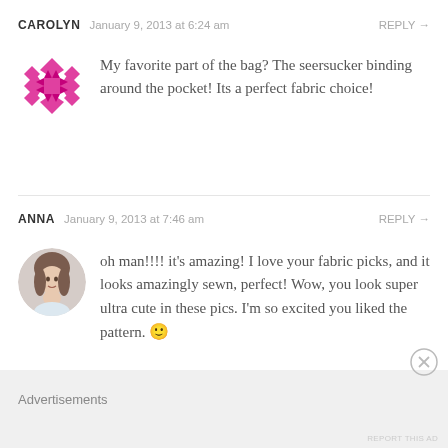CAROLYN  January 9, 2013 at 6:24 am  REPLY →
[Figure (illustration): Pink geometric quilt-pattern avatar icon for user Carolyn]
My favorite part of the bag? The seersucker binding around the pocket! Its a perfect fabric choice!
ANNA  January 9, 2013 at 7:46 am  REPLY →
[Figure (photo): Circular avatar photo of a young woman with brown hair for user Anna]
oh man!!!! it's amazing! I love your fabric picks, and it looks amazingly sewn, perfect! Wow, you look super ultra cute in these pics. I'm so excited you liked the pattern. 🙂
Advertisements